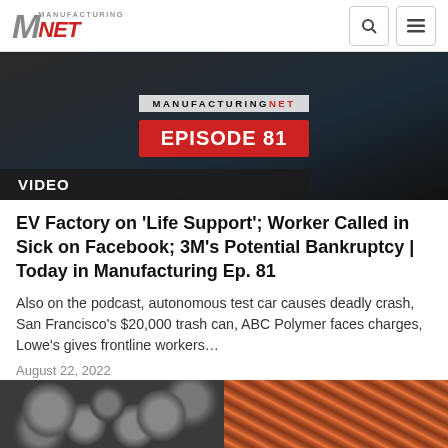Manufacturing.net
[Figure (screenshot): Video thumbnail showing episode 81 badge on dark background with Manufacturing.net branding]
EV Factory on 'Life Support'; Worker Called in Sick on Facebook; 3M's Potential Bankruptcy | Today in Manufacturing Ep. 81
Also on the podcast, autonomous test car causes deadly crash, San Francisco's $20,000 trash can, ABC Polymer faces charges, Lowe's gives frontline workers…
August 22, 2022
LOADING…
[Figure (photo): Two partial images at bottom: left shows dark metal bolts/hardware, right shows orange/red metal coils or cables]